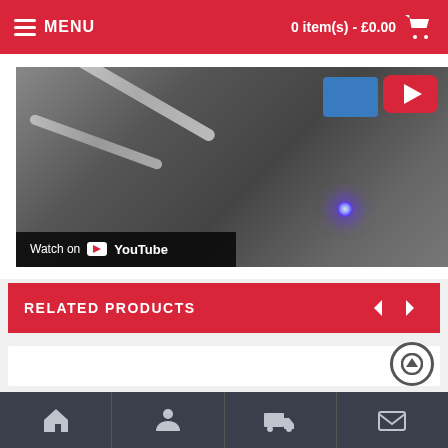MENU | 0 item(s) - £0.00
[Figure (screenshot): YouTube video thumbnail showing dental tools and laser equipment on dark surface with a blue light glow. A red YouTube play button is visible in the top right. A 'Watch on YouTube' overlay is in the bottom left.]
RELATED PRODUCTS
[Figure (other): White product card area with a circular scroll-to-top button (upward arrow) on the right side]
Home | Account | Shipping | Contact navigation icons